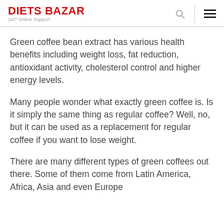DIETS BAZAR
24/7 Online Support
Green coffee bean extract has various health benefits including weight loss, fat reduction, antioxidant activity, cholesterol control and higher energy levels.
Many people wonder what exactly green coffee is. Is it simply the same thing as regular coffee? Well, no, but it can be used as a replacement for regular coffee if you want to lose weight.
There are many different types of green coffees out there. Some of them come from Latin America, Africa, Asia and even Europe